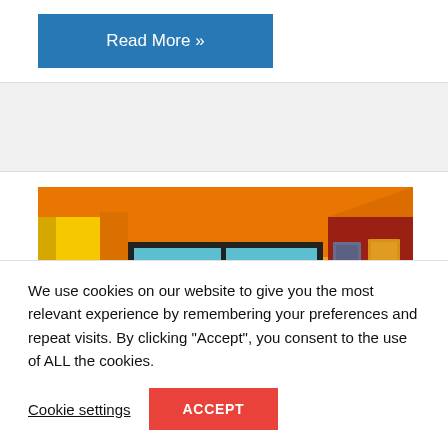Read More »
[Figure (illustration): Cartoon illustration of a room interior with orange walls and ceiling, yellow wall on left, dark red wall on right, a window with teal/blue glass and orange curtains, and two framed pictures on the right wall]
We use cookies on our website to give you the most relevant experience by remembering your preferences and repeat visits. By clicking “Accept”, you consent to the use of ALL the cookies.
Cookie settings
ACCEPT